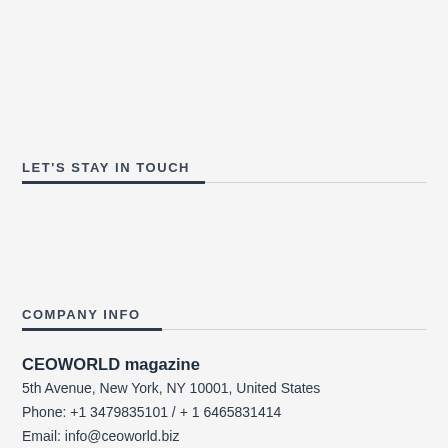LET'S STAY IN TOUCH
COMPANY INFO
CEOWORLD magazine
5th Avenue, New York, NY 10001, United States
Phone: +1 3479835101 / + 1 6465831414
Email: info@ceoworld.biz